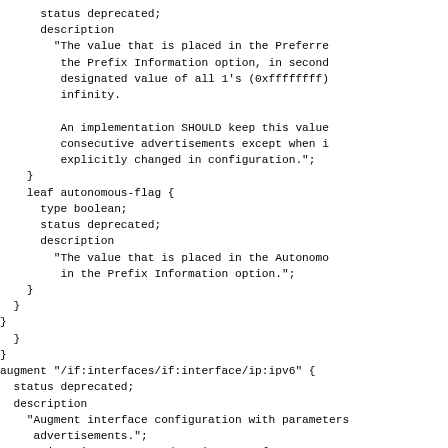status deprecated;
            description
              "The value that is placed in the Preferre
               the Prefix Information option, in second
               designated value of all 1's (0xffffffff)
               infinity.

               An implementation SHOULD keep this value
               consecutive advertisements except when i
               explicitly changed in configuration.";
          }
          leaf autonomous-flag {
            type boolean;
            status deprecated;
            description
              "The value that is placed in the Autonomo
               in the Prefix Information option.";
          }
        }
      }
    }
  }
  augment "/if:interfaces/if:interface/ip:ipv6" {
    status deprecated;
    description
      "Augment interface configuration with parameters
       advertisements.";
    container ipv6-router-advertisements {
      status deprecated;
      description